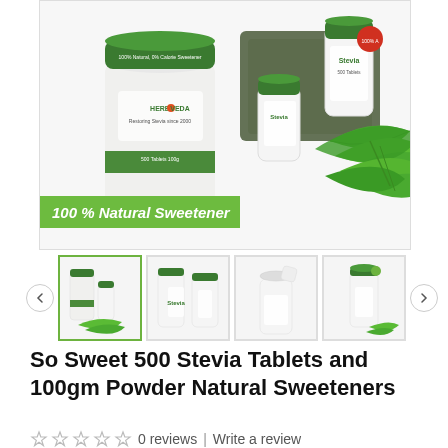[Figure (photo): Main product image showing Herboveda So Sweet Stevia powder container (green lid, white tub) on left, and a blister pack with Stevia bottle and green stevia leaves on right. Green banner at bottom says '100 % Natural Sweetener'.]
[Figure (photo): Thumbnail image 1 (active/selected): Stevia tablet bottle and powder container with green leaves]
[Figure (photo): Thumbnail image 2: Two white stevia bottles]
[Figure (photo): Thumbnail image 3: Single white stevia bottle open lid]
[Figure (photo): Thumbnail image 4: Small stevia shaker bottle with green leaves]
So Sweet 500 Stevia Tablets and 100gm Powder Natural Sweeteners
0 reviews  |  Write a review